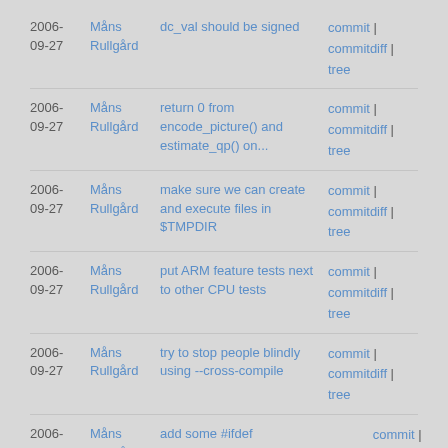| Date | Author | Message | Actions |
| --- | --- | --- | --- |
| 2006-09-27 | Måns Rullgård | dc_val should be signed | commit | commitdiff | tree |
| 2006-09-27 | Måns Rullgård | return 0 from encode_picture() and estimate_qp() on... | commit | commitdiff | tree |
| 2006-09-27 | Måns Rullgård | make sure we can create and execute files in $TMPDIR | commit | commitdiff | tree |
| 2006-09-27 | Måns Rullgård | put ARM feature tests next to other CPU tests | commit | commitdiff | tree |
| 2006-09-27 | Måns Rullgård | try to stop people blindly using --cross-compile | commit | commitdiff | tree |
| 2006-09-27 | Måns Rullgård | add some #ifdef CONFIG_ENCODERS/DECODERS | commit | commitdiff | tree |
next